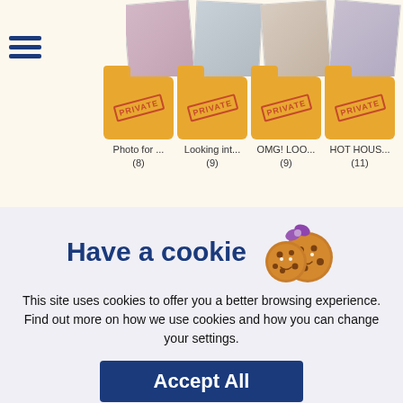[Figure (screenshot): Website header showing photo cards of a woman and four folder icons labeled PRIVATE with captions: Photo for... (8), Looking int... (9), OMG! LOO... (9), HOT HOUS... (11)]
Have a cookie
This site uses cookies to offer you a better browsing experience. Find out more on how we use cookies and how you can change your settings.
Accept All
Cookie settings page